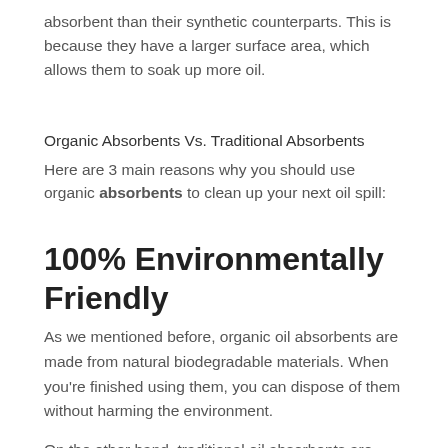absorbent than their synthetic counterparts. This is because they have a larger surface area, which allows them to soak up more oil.
Organic Absorbents Vs. Traditional Absorbents
Here are 3 main reasons why you should use organic absorbents to clean up your next oil spill:
100% Environmentally Friendly
As we mentioned before, organic oil absorbents are made from natural biodegradable materials. When you’re finished using them, you can dispose of them without harming the environment.
On the other hand, traditional oil absorbents are made from synthetic materials that can take hundreds of years to break down. And even then